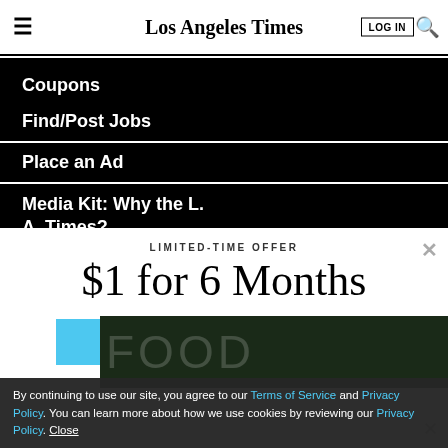Los Angeles Times — LOG IN [search icon]
Coupons
Find/Post Jobs
Place an Ad
Media Kit: Why the L. A. Times?
Bestcovery
LIMITED-TIME OFFER
$1 for 6 Months
SUBSCRIBE NOW
By continuing to use our site, you agree to our Terms of Service and Privacy Policy. You can learn more about how we use cookies by reviewing our Privacy Policy. Close